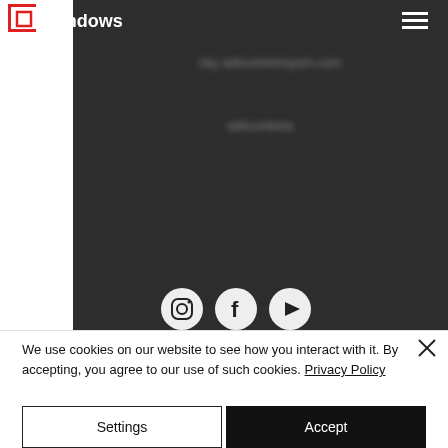[Figure (screenshot): Website screenshot showing a navigation bar with a logo (red square icon and 'Windows' text), hamburger menu icon, a dark gray background section with blurred/redacted text and three social media icons (Instagram, Facebook, YouTube) at the bottom, and a cookie consent banner overlay with 'Settings' and 'Accept' buttons.]
We use cookies on our website to see how you interact with it. By accepting, you agree to our use of such cookies. Privacy Policy
Settings
Accept